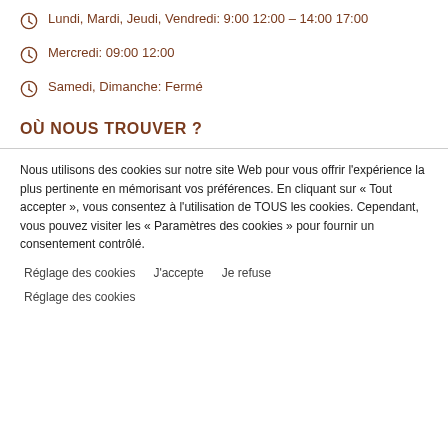Lundi, Mardi, Jeudi, Vendredi: 9:00 12:00 – 14:00 17:00
Mercredi: 09:00 12:00
Samedi, Dimanche: Fermé
OÙ NOUS TROUVER ?
Nous utilisons des cookies sur notre site Web pour vous offrir l'expérience la plus pertinente en mémorisant vos préférences. En cliquant sur « Tout accepter », vous consentez à l'utilisation de TOUS les cookies. Cependant, vous pouvez visiter les « Paramètres des cookies » pour fournir un consentement contrôlé.
Réglage des cookies   J'accepte   Je refuse
Réglage des cookies